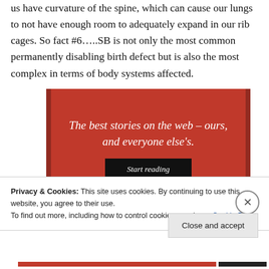us have curvature of the spine, which can cause our lungs to not have enough room to adequately expand in our rib cages. So fact #6…..SB is not only the most common permanently disabling birth defect but is also the most complex in terms of body systems affected.
[Figure (other): Red advertisement banner reading 'The best stories on the web – ours, and everyone else's.' with a 'Start reading' black button]
Privacy & Cookies: This site uses cookies. By continuing to use this website, you agree to their use.
To find out more, including how to control cookies, see here: Cookie Policy
Close and accept